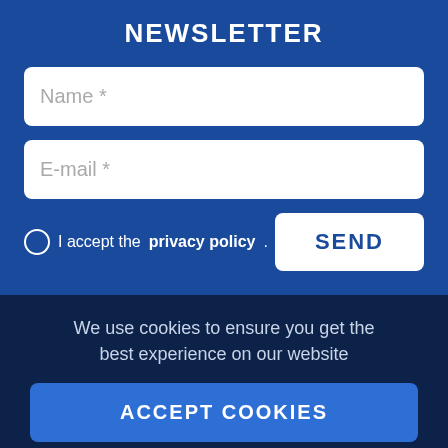NEWSLETTER
Name *
E-mail *
I accept the privacy policy.
SEND
We use cookies to ensure you get the best experience on our website
ACCEPT COOKIES
MORE INFO
© R... are